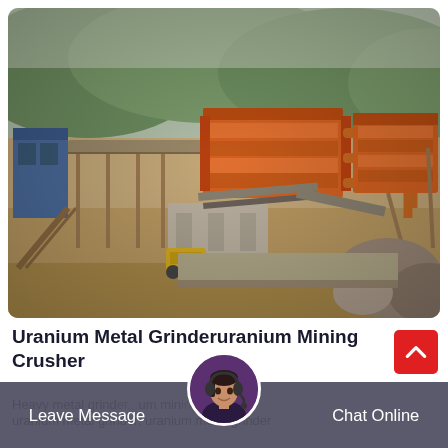[Figure (photo): Aerial view of a uranium mining and crushing facility showing large orange industrial crushers/screeners, conveyor belts, structural steel supports, and quarried rocky terrain with forested hills in background.]
Uranium Metal Grinderuranium Mining Crusher
Heavy metal grinder... uranium mining crusher... uranium metal grinder, uranium metal grinder
Leave Message   Chat Online